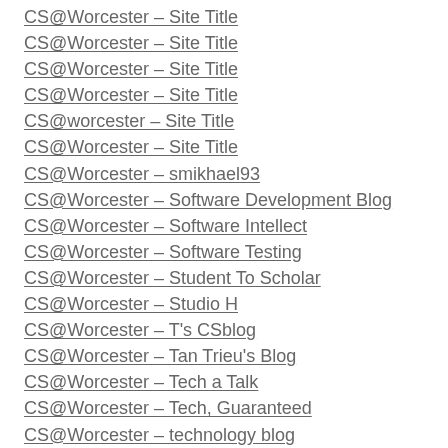CS@Worcester – Site Title
CS@Worcester – Site Title
CS@Worcester – Site Title
CS@Worcester – Site Title
CS@worcester – Site Title
CS@Worcester – Site Title
CS@Worcester – smikhael93
CS@Worcester – Software Development Blog
CS@Worcester – Software Intellect
CS@Worcester – Software Testing
CS@Worcester – Student To Scholar
CS@Worcester – Studio H
CS@Worcester – T's CSblog
CS@Worcester – Tan Trieu's Blog
CS@Worcester – Tech a Talk
CS@Worcester – Tech, Guaranteed
CS@Worcester – technology blog
CS@Worcester – ThanhTruong
CS@Worcester – The Average CS Student